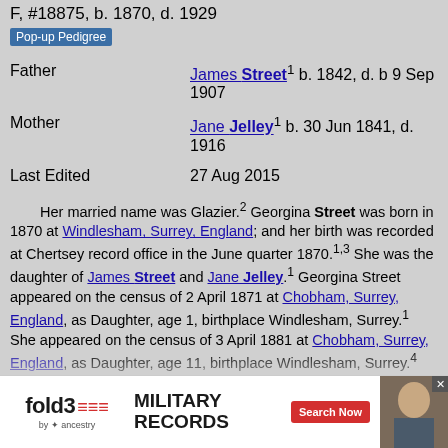F, #18875, b. 1870, d. 1929
Pop-up Pedigree
| Field | Value |
| --- | --- |
| Father | James Street¹ b. 1842, d. b 9 Sep 1907 |
| Mother | Jane Jelley¹ b. 30 Jun 1841, d. 1916 |
| Last Edited | 27 Aug 2015 |
Her married name was Glazier.² Georgina Street was born in 1870 at Windlesham, Surrey, England; and her birth was recorded at Chertsey record office in the June quarter 1870.¹,³ She was the daughter of James Street and Jane Jelley.¹ Georgina Street appeared on the census of 2 April 1871 at Chobham, Surrey, England, as Daughter, age 1, birthplace Windlesham, Surrey.¹ She appeared on the census of 3 April 1881 at Chobham, Surrey, England, as Daughter, age 11, birthplace Windlesham, Surrey.⁴ She appeared on the census of 5 April 1891 at Woking, Surrey, England, as Georgina Stent, Servant, age 21, birthplace Chobham, Surrey.⁵ She appeared on the census of 31 March 1901 at Lambeth, London, birthplace Bisley, Surrey...
[Figure (advertisement): Fold3 Military Records advertisement by Ancestry with Search Now button]